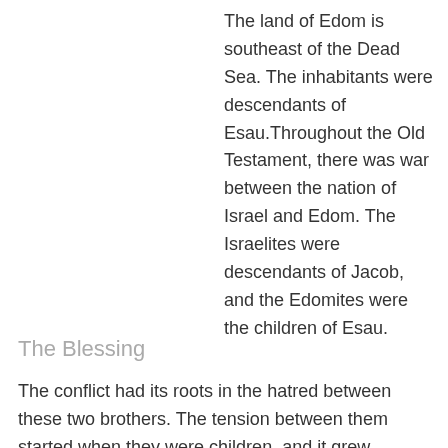The land of Edom is southeast of the Dead Sea. The inhabitants were descendants of Esau.Throughout the Old Testament, there was war between the nation of Israel and Edom. The Israelites were descendants of Jacob, and the Edomites were the children of Esau.
The Blessing
The conflict had its roots in the hatred between these two brothers. The tension between them started when they were children, and it grew